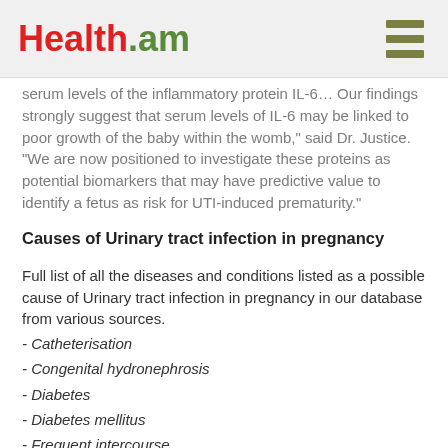Health.am
serum levels of the inflammatory protein IL-6... Our findings strongly suggest that serum levels of IL-6 may be linked to poor growth of the baby within the womb," said Dr. Justice. "We are now positioned to investigate these proteins as potential biomarkers that may have predictive value to identify a fetus as risk for UTI-induced prematurity."
Causes of Urinary tract infection in pregnancy
Full list of all the diseases and conditions listed as a possible cause of Urinary tract infection in pregnancy in our database from various sources.
- Catheterisation
- Congenital hydronephrosis
- Diabetes
- Diabetes mellitus
- Frequent intercourse
- Glycosuria
- High parity